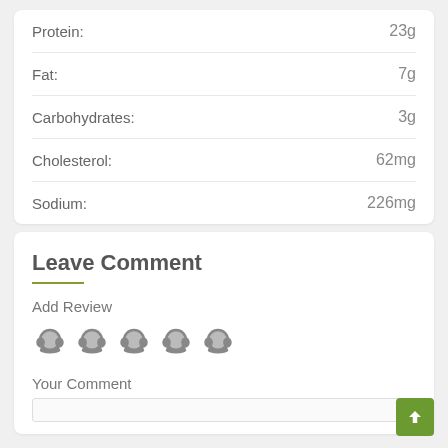| Nutrient | Amount |
| --- | --- |
| Protein: | 23g |
| Fat: | 7g |
| Carbohydrates: | 3g |
| Cholesterol: | 62mg |
| Sodium: | 226mg |
Leave Comment
Add Review
[Figure (other): Five chef hat rating icons in gray]
Your Comment